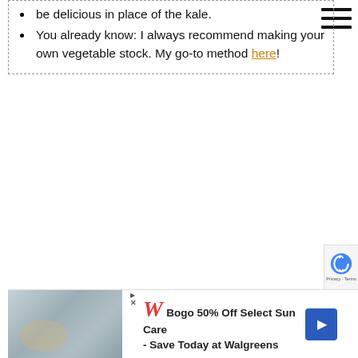be delicious in place of the kale.
You already know: I always recommend making your own vegetable stock. My go-to method here!
[Figure (photo): Partial food photo visible at bottom of page, appears to show a plate with food item, brown tones]
[Figure (infographic): Walgreens advertisement banner: Bogo 50% Off Select Sun Care - Save Today at Walgreens, with Walgreens logo W, blue arrow button, and play/close icons]